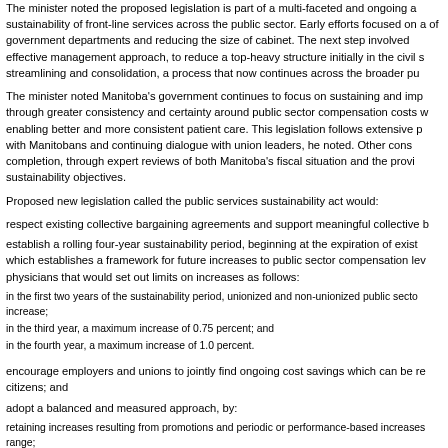The minister noted the proposed legislation is part of a multi-faceted and ongoing approach to the sustainability of front-line services across the public sector. Early efforts focused on amalgamation of government departments and reducing the size of cabinet. The next step involved implementing an effective management approach, to reduce a top-heavy structure initially in the civil service through streamlining and consolidation, a process that now continues across the broader public sector.
The minister noted Manitoba's government continues to focus on sustaining and improving services through greater consistency and certainty around public sector compensation costs while also enabling better and more consistent patient care. This legislation follows extensive public consultations with Manitobans and continuing dialogue with union leaders, he noted. Other consultations are near completion, through expert reviews of both Manitoba's fiscal situation and the province's long-term sustainability objectives.
Proposed new legislation called the public services sustainability act would:
respect existing collective bargaining agreements and support meaningful collective b
establish a rolling four-year sustainability period, beginning at the expiration of existing agreements, which establishes a framework for future increases to public sector compensation levels, except for physicians that would set out limits on increases as follows:
in the first two years of the sustainability period, unionized and non-unionized public sector employees would receive a zero percent increase;
in the third year, a maximum increase of 0.75 percent; and
in the fourth year, a maximum increase of 1.0 percent.
encourage employers and unions to jointly find ongoing cost savings which can be reinvested for citizens; and
adopt a balanced and measured approach, by:
retaining increases resulting from promotions and periodic or performance-based increases within range;